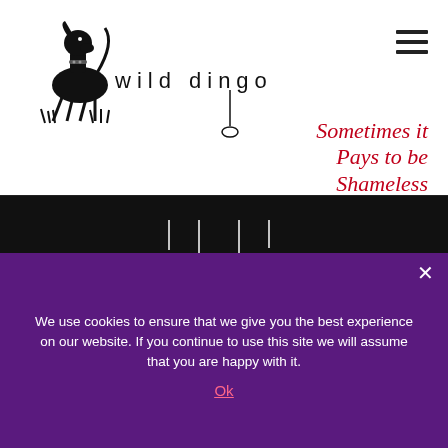[Figure (logo): Wild Dingo logo with illustrated dog and stylized 'wild dingo' text with leash graphic]
Sometimes it Pays to be Shameless
[Figure (logo): Wild Dingo white text logo on black background with leash and ring graphic]
[Figure (infographic): Social media icons: Facebook, Instagram, Twitter, LinkedIn in red circles]
We use cookies to ensure that we give you the best experience on our website. If you continue to use this site we will assume that you are happy with it.
Ok